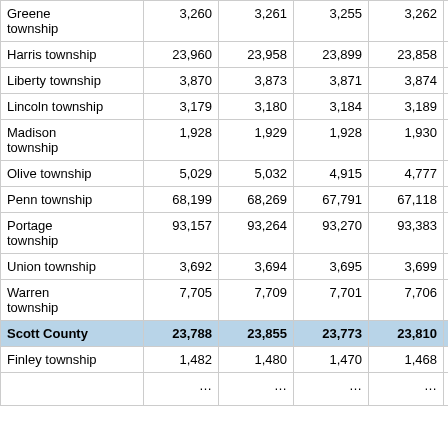| Township/Place | Col1 | Col2 | Col3 | Col4 | Col5 | Col6 |
| --- | --- | --- | --- | --- | --- | --- |
| Greene township | 3,260 | 3,261 | 3,255 | 3,262 | 3,257 | 3,… |
| Harris township | 23,960 | 23,958 | 23,899 | 23,858 | 23,808 | 23,… |
| Liberty township | 3,870 | 3,873 | 3,871 | 3,874 | 3,869 | 3,… |
| Lincoln township | 3,179 | 3,180 | 3,184 | 3,189 | 3,187 | 3,… |
| Madison township | 1,928 | 1,929 | 1,928 | 1,930 | 1,929 | 1,… |
| Olive township | 5,029 | 5,032 | 4,915 | 4,777 | 4,772 | 4,… |
| Penn township | 68,199 | 68,269 | 67,791 | 67,118 | 66,949 | 66,… |
| Portage township | 93,157 | 93,264 | 93,270 | 93,383 | 93,542 | 93,… |
| Union township | 3,692 | 3,694 | 3,695 | 3,699 | 3,695 | 3,… |
| Warren township | 7,705 | 7,709 | 7,701 | 7,706 | 7,697 | 7,… |
| Scott County | 23,788 | 23,855 | 23,773 | 23,810 | 23,700 | 23,… |
| Finley township | 1,482 | 1,480 | 1,470 | 1,468 | 1,455 | 1,… |
| … | … | … | … | … | … | … |